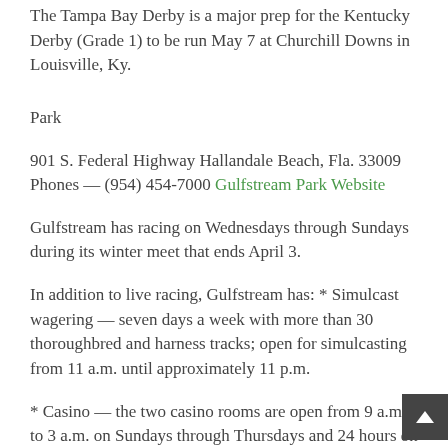The Tampa Bay Derby is a major prep for the Kentucky Derby (Grade 1) to be run May 7 at Churchill Downs in Louisville, Ky.
Park
901 S. Federal Highway Hallandale Beach, Fla. 33009 Phones — (954) 454-7000 Gulfstream Park Website
Gulfstream has racing on Wednesdays through Sundays during its winter meet that ends April 3.
In addition to live racing, Gulfstream has: * Simulcast wagering — seven days a week with more than 30 thoroughbred and harness tracks; open for simulcasting from 11 a.m. until approximately 11 p.m.
* Casino — the two casino rooms are open from 9 a.m. to 3 a.m. on Sundays through Thursdays and 24 hours on Fridays and Saturdays